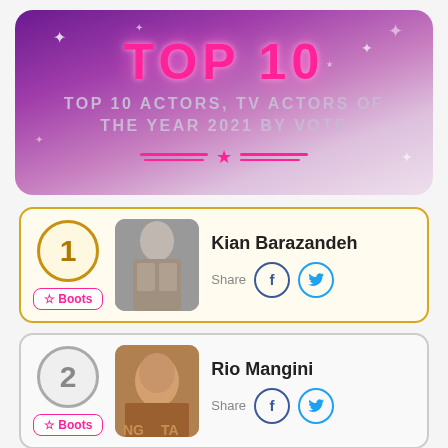[Figure (infographic): Purple/pink gradient banner with sparkles. Title reads TOP 10 in pink, subtitle reads TOP 10 ACTORS, TV ACTORS OF THE YEAR 2021 BY VOTE with pink decorative divider lines and a star.]
1 Kian Barazandeh — Share
2 Rio Mangini — Share